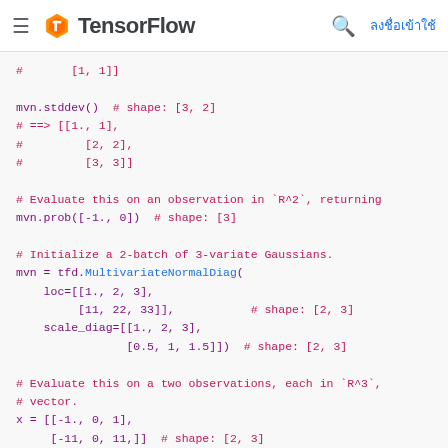TensorFlow
# [1, 1]]

mvn.stddev()  # shape: [3, 2]
# ==> [[1., 1],
#         [2, 2],
#         [3, 3]]

# Evaluate this on an observation in `R^2`, returning
mvn.prob([-1., 0])  # shape: [3]

# Initialize a 2-batch of 3-variate Gaussians.
mvn = tfd.MultivariateNormalDiag(
    loc=[[1., 2, 3],
         [11, 22, 33]],           # shape: [2, 3]
    scale_diag=[[1., 2, 3],
                [0.5, 1, 1.5]])  # shape: [2, 3]

# Evaluate this on a two observations, each in `R^3`,
# vector.
x = [[-1., 0, 1],
     [-11, 0, 11,]]  # shape: [2, 3]